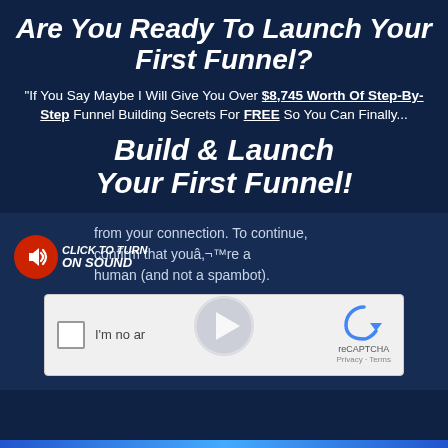Are You Ready To Launch Your First Funnel?
“If You Say Maybe I Will Give You Over $8,745 Worth Of Step-By-Step Funnel Building Secrets For FREE So You Can Finally…
Build & Launch Your First Funnel!
[Figure (screenshot): Video player screenshot showing a CAPTCHA verification overlay with text 'from your connection. To continue, confirm that you’re a human (and not a spambot).' A red circular sound button with speaker icon and 'CLICK TO TURN ON SOUND' label is overlaid on the left. A reCAPTCHA checkbox widget showing 'I'm no a r...' (I'm not a robot) is shown at the bottom of the video area, with the reCAPTCHA logo and 'Privacy - Terms' on the right. A play button circle is overlaid on the video.]